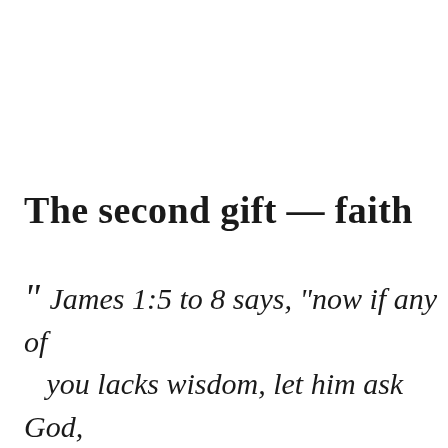The second gift — faith
“ James 1:5 to 8 says, “now if any of you lacks wisdom, let him ask God, who gives to all generously and without reproach; and it will be given to him. But let him ask in trust